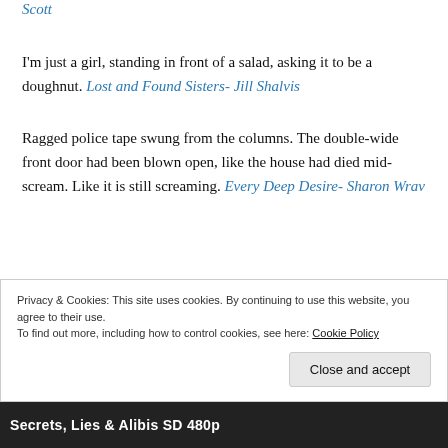Scott
I'm just a girl, standing in front of a salad, asking it to be a doughnut. Lost and Found Sisters- Jill Shalvis
Ragged police tape swung from the columns. The double-wide front door had been blown open, like the house had died mid-scream. Like it is still screaming. Every Deep Desire- Sharon Wrav
Privacy & Cookies: This site uses cookies. By continuing to use this website, you agree to their use.
To find out more, including how to control cookies, see here: Cookie Policy
Close and accept
Secrets, Lies & Alibis SD 480p